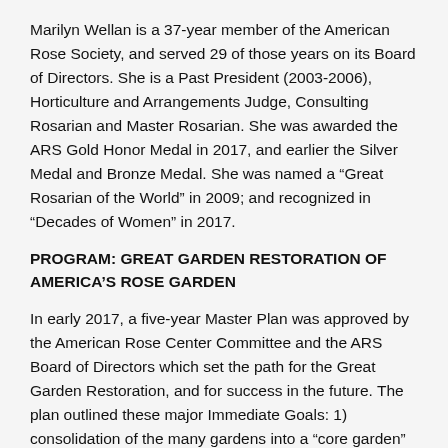Marilyn Wellan is a 37-year member of the American Rose Society, and served 29 of those years on its Board of Directors. She is a Past President (2003-2006), Horticulture and Arrangements Judge, Consulting Rosarian and Master Rosarian. She was awarded the ARS Gold Honor Medal in 2017, and earlier the Silver Medal and Bronze Medal. She was named a “Great Rosarian of the World” in 2009; and recognized in “Decades of Women” in 2017.
PROGRAM: GREAT GARDEN RESTORATION OF AMERICA’S ROSE GARDEN
In early 2017, a five-year Master Plan was approved by the American Rose Center Committee and the ARS Board of Directors which set the path for the Great Garden Restoration, and for success in the future. The plan outlined these major Immediate Goals: 1) consolidation of the many gardens into a “core garden” with visual impact; 2) clearing of many trees; 3) deer fencing; 4) new walkways; 5) soil testing and amending; 6) creating an